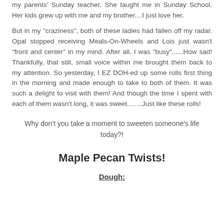my parents' Sunday teacher. She taught me in Sunday School. Her kids grew up with me and my brother....I just love her.
But in my "craziness", both of these ladies had fallen off my radar. Opal stopped receiving Meals-On-Wheels and Lois just wasn't "front and center" in my mind. After all, I was "busy"......How sad! Thankfully, that still, small voice within me brought them back to my attention. So yesterday, I EZ DOH-ed up some rolls first thing in the morning and made enough to take to both of them. It was such a delight to visit with them! And though the time I spent with each of them wasn't long, it was sweet........Just like these rolls!
Why don't you take a moment to sweeten someone's life today?!
Maple Pecan Twists!
Dough: